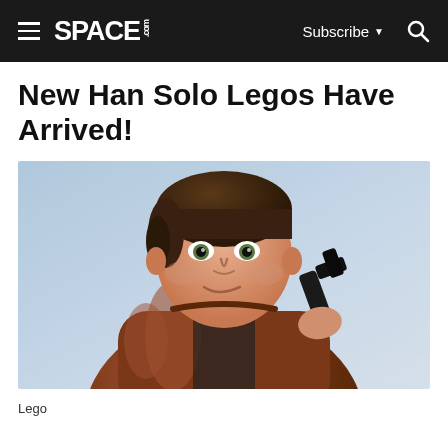SPACE.com | Subscribe | Search
New Han Solo Legos Have Arrived!
[Figure (photo): A close-up render of a Han Solo Lego figure wearing a brown jacket and holding a black blaster gun, against a light blue background.]
Lego